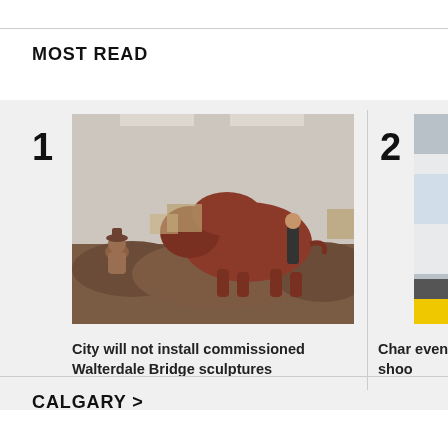MOST READ
[Figure (photo): Photo of a large bison sculpture in a workshop/studio space, with a smaller seated human figure sculpture visible on the left and a person standing near the sculpture for scale.]
City will not install commissioned Walterdale Bridge sculptures
[Figure (photo): Partially visible photo showing a vehicle (appears to be a car, white/silver color) with yellow markings at the bottom edge.]
Char event shoo
CALGARY >